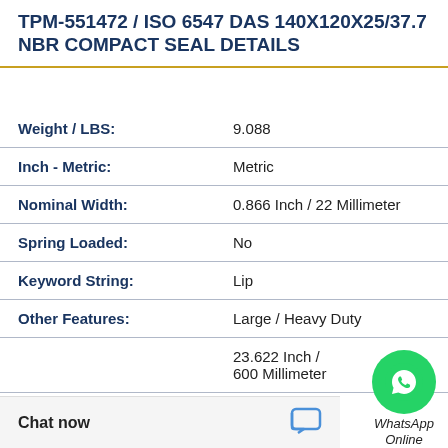TPM-551472 / ISO 6547 DAS 140X120X25/37.7 NBR COMPACT SEAL DETAILS
| Property | Value |
| --- | --- |
| Weight / LBS: | 9.088 |
| Inch - Metric: | Metric |
| Nominal Width: | 0.866 Inch / 22 Millimeter |
| Spring Loaded: | No |
| Keyword String: | Lip |
| Other Features: | Large / Heavy Duty |
|  | 23.622 Inch / 600 Millimeter |
[Figure (illustration): WhatsApp Online green circle button with phone handset icon and label 'WhatsApp Online']
Chat now